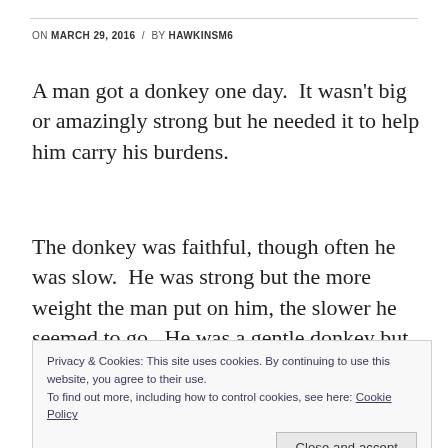ON MARCH 29, 2016  /  BY HAWKINSM6
A man got a donkey one day.  It wasn't big or amazingly strong but he needed it to help him carry his burdens.
The donkey was faithful, though often he was slow.  He was strong but the more weight the man put on him, the slower he seemed to go.  He was a gentle donkey but,
Privacy & Cookies: This site uses cookies. By continuing to use this website, you agree to their use.
To find out more, including how to control cookies, see here: Cookie Policy
[Close and accept]
carry his own burdens, though it hurt his back and